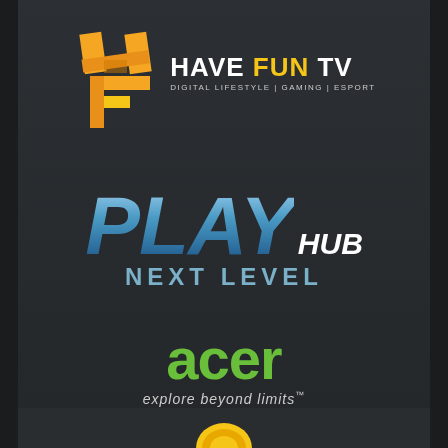[Figure (logo): Have Fun TV logo with orange/yellow stylized HF icon and text 'HAVE FUN TV / DIGITAL LIFESTYLE | GAMING | ESPORT']
[Figure (logo): PLAY HUB NEXT LEVEL logo in metallic blue gradient italic text]
[Figure (logo): Acer logo in green with tagline 'explore beyond limits™']
[Figure (logo): Partial yellow/orange circular logo at bottom of page]